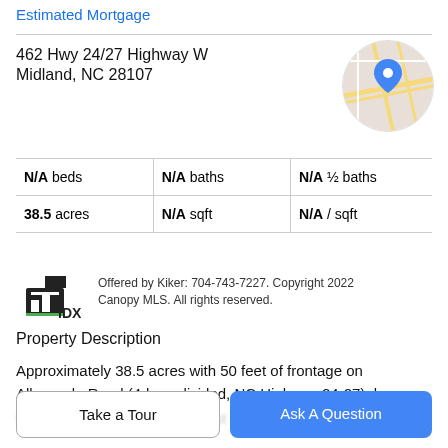Estimated Mortgage
462 Hwy 24/27 Highway W
Midland, NC 28107
[Figure (map): Circular map thumbnail showing street map with blue location pin marker.]
| N/A beds | N/A baths | N/A ½ baths |
| 38.5 acres | N/A sqft | N/A / sqft |
Offered by Kiker: 704-743-7227. Copyright 2022 Canopy MLS. All rights reserved.
Property Description
Approximately 38.5 acres with 50 feet of frontage on Albemarle Road (4-lane divided, NC Highway 24-27); less than 5 miles from I-485 and just 20 minutes to Uptown...